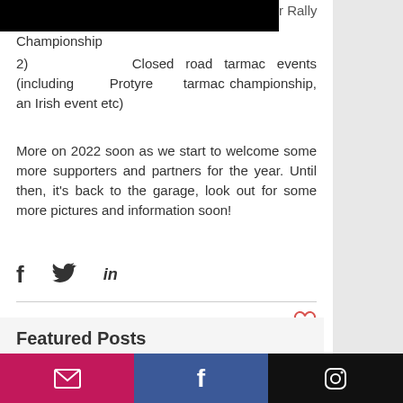r Rally Championship
2) Closed road tarmac events (including Protyre tarmac championship, an Irish event etc)
More on 2022 soon as we start to welcome some more supporters and partners for the year. Until then, it's back to the garage, look out for some more pictures and information soon!
[Figure (infographic): Social share icons: Facebook (f), Twitter (bird), LinkedIn (in)]
[Figure (infographic): Heart/like button icon in red outline]
Featured Posts
[Figure (infographic): Footer bar with three social media buttons: email (envelope, pink/magenta), Facebook (f, blue), Instagram (camera, black)]